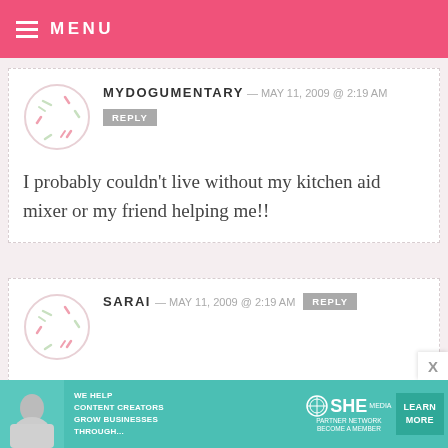MENU
MYDOGUMENTARY — MAY 11, 2009 @ 2:19 AM
REPLY
I probably couldn't live without my kitchen aid mixer or my friend helping me!!
SARAI — MAY 11, 2009 @ 2:19 AM REPLY
I could not bake without my favorite heat-proof Rachel Ray scrapers!
[Figure (infographic): SHE Partner Network advertisement banner with text: WE HELP CONTENT CREATORS GROW BUSINESSES THROUGH... and LEARN MORE button]